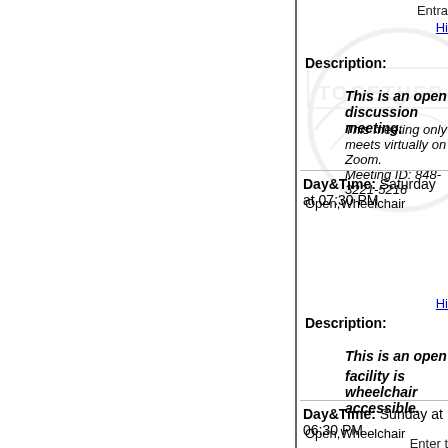Entra
Hi
Description:
This is an open discussion meeting.
This meeting only meets virtually on Zoom. Meeting ID: 848-3221-5216
Day&Time: Saturday at 07:30 PM Open,Wheelchair
[Figure (logo): TOGETHER watermark logo in light gray]
Hi
Description:
This is an open discussion meeting where t... facility is wheelchair accessible.
Day&Time: Sunday at 06:30 PM Open,Wheelchair
Enter t